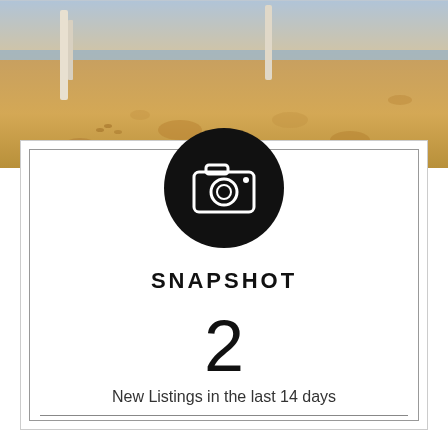[Figure (photo): Beach scene with sand and footprints, wooden posts visible, panoramic banner photo at the top of the page]
[Figure (infographic): Black circle with white camera icon, overlapping the top edge of a bordered card]
SNAPSHOT
2
New Listings in the last 14 days